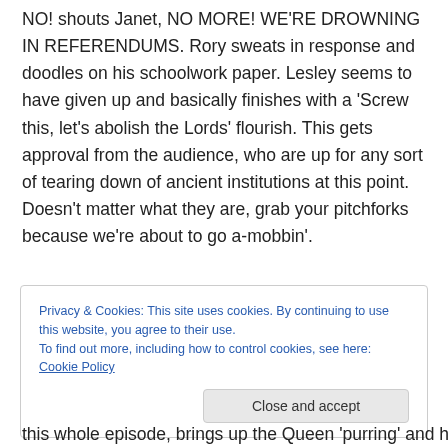NO! shouts Janet, NO MORE! WE'RE DROWNING IN REFERENDUMS. Rory sweats in response and doodles on his schoolwork paper. Lesley seems to have given up and basically finishes with a ‘Screw this, let’s abolish the Lords’ flourish. This gets approval from the audience, who are up for any sort of tearing down of ancient institutions at this point. Doesn’t matter what they are, grab your pitchforks because we’re about to go a-mobbin’.
Privacy & Cookies: This site uses cookies. By continuing to use this website, you agree to their use.
To find out more, including how to control cookies, see here: Cookie Policy
this whole episode, brings up the Queen ‘purring’ and her